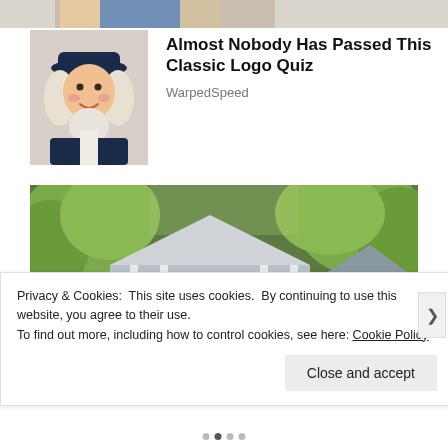[Figure (photo): Partial image strip at top of page, partially cropped]
[Figure (photo): Thumbnail image of a colonial-style mascot figure wearing a dark hat and white wig, resembling a logo character]
Almost Nobody Has Passed This Classic Logo Quiz
WarpedSpeed
[Figure (photo): Photograph of a house with a peaked roof and large front porch with columns, surrounded by lush green trees]
Privacy & Cookies:  This site uses cookies.  By continuing to use this website, you agree to their use.
To find out more, including how to control cookies, see here: Cookie Policy
Close and accept